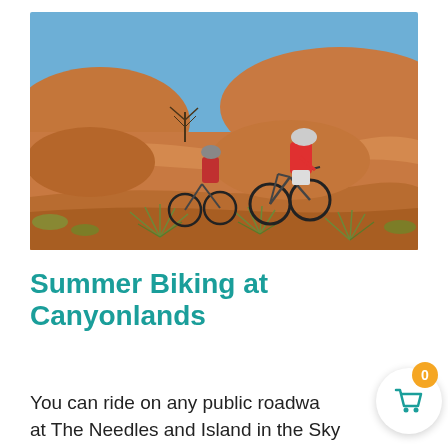[Figure (photo): Two mountain bikers riding over orange-red sandstone rock terrain in a desert canyon landscape (Canyonlands). The lead rider wears a red shirt and white helmet; a second rider follows behind. Sparse desert shrubs and yucca plants are visible in the foreground, with sweeping sandstone formations in the background under a clear blue sky.]
Summer Biking at Canyonlands
You can ride on any public roadwa at The Needles and Island in the Sky